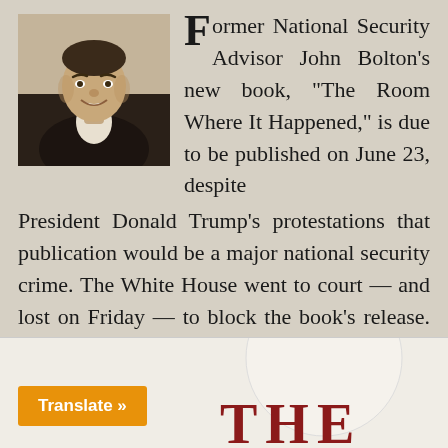[Figure (photo): Headshot photo of a smiling man in a dark suit and white shirt, appears to be John Bolton or a similar figure]
Former National Security Advisor John Bolton's new book, “The Room Where It Happened,” is due to be published on June 23, despite President Donald Trump’s protestations that publication would be a major national security crime. The White House went to court — and lost on Friday — to block the book’s release. And Trump mused publicly about charging Bolton with national security crimes. I doubt that will happen. But publication will likely happen for a host of reasons.
[Figure (photo): Bottom portion of the page showing a book cover with the text 'THE' visible in dark red/maroon letters, partially visible]
Translate »